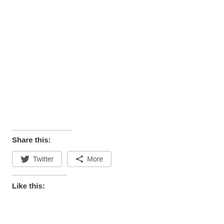Share this:
Twitter  More
Like this: